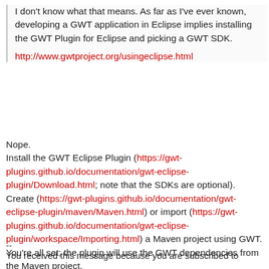I don't know what that means. As far as I've ever known, developing a GWT application in Eclipse implies installing the GWT Plugin for Eclipse and picking a GWT SDK.
http://www.gwtproject.org/usingeclipse.html
Nope.
Install the GWT Eclipse Plugin (https://gwt-plugins.github.io/documentation/gwt-eclipse-plugin/Download.html; note that the SDKs are optional).
Create (https://gwt-plugins.github.io/documentation/gwt-eclipse-plugin/maven/Maven.html) or import (https://gwt-plugins.github.io/documentation/gwt-eclipse-plugin/workspace/Importing.html) a Maven project using GWT.
You're all set; the plugin will use the GWT dependencies from the Maven project.
--
You received this message because you are subscribed to